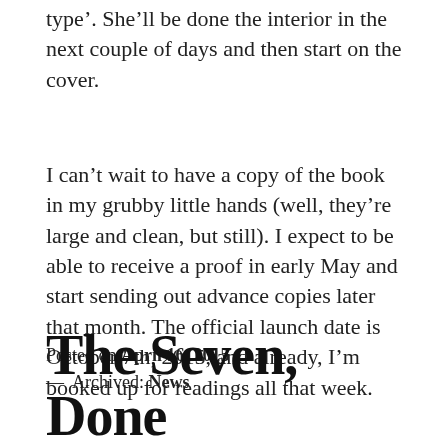type'. She'll be done the interior in the next couple of days and then start on the cover.
I can't wait to have a copy of the book in my grubby little hands (well, they're large and clean, but still). I expect to be able to receive a proof in early May and start sending out advance copies later that month. The official launch date is October 7th, 2015, and already, I'm booked up for readings all that week.
Posted on April 16, 2015 — Archived: News
The Seven, Done